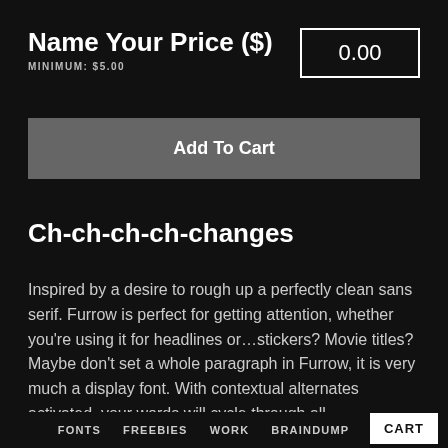Name Your Price ($)
MINIMUM: $5.00
0.00
Add To Cart
Ch-ch-ch-ch-changes
Inspired by a desire to rough up a perfectly clean sans serif. Furrow is perfect for getting attention, whether you're using it for headlines or...stickers? Movie titles? Maybe don't set a whole paragraph in Furrow, it is very much a display font. With contextual alternates activated, your words will cycle through all
FONTS  FREEBIES  WORK  BRAINDUMP  ME  CART